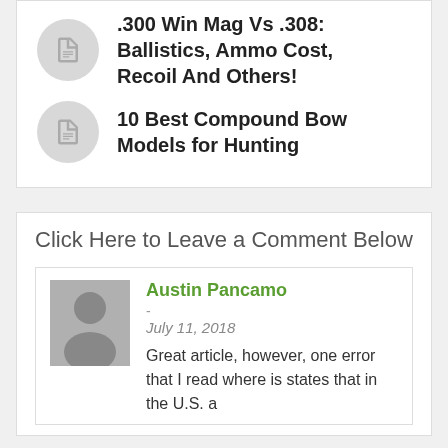.300 Win Mag Vs .308: Ballistics, Ammo Cost, Recoil And Others!
10 Best Compound Bow Models for Hunting
Click Here to Leave a Comment Below
Austin Pancamo
-
July 11, 2018
Great article, however, one error that I read where is states that in the U.S. a